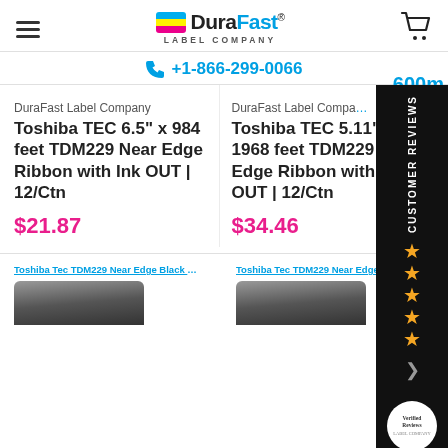DuraFast Label Company | +1-866-299-0066
DuraFast Label Company
Toshiba TEC 6.5" x 984 feet TDM229 Near Edge Ribbon with Ink OUT | 12/Ctn
$21.87
DuraFast Label Company
Toshiba TEC 5.11" x 1968 feet TDM229 Edge Ribbon with Ink OUT | 12/Ctn
$34.46
[Figure (other): Customer Reviews badge with stars]
Toshiba Tec TDM229 Near Edge Black Ribbon
Toshiba Tec TDM229 Near Edge Black Ribbon